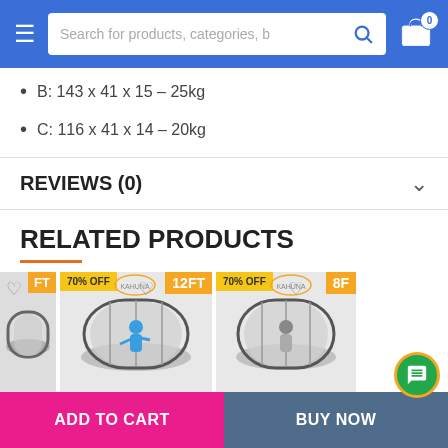Search for products, categories, b
B: 143 x 41 x 15 – 25kg
C: 116 x 41 x 14 – 20kg
REVIEWS (0)
RELATED PRODUCTS
[Figure (screenshot): Row of related trampoline product cards with 70% OFF badges, Kahuna branding, 12FT and 8FT size labels, and heart wishlist icons]
ADD TO CART
BUY NOW